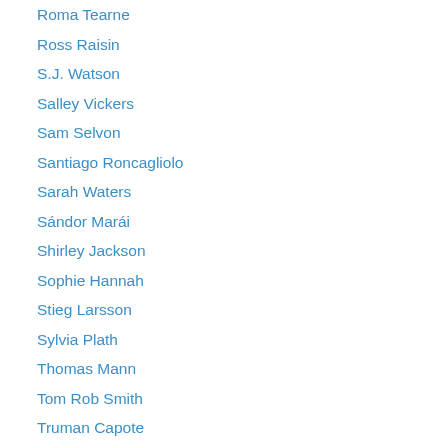Roma Tearne
Ross Raisin
S.J. Watson
Salley Vickers
Sam Selvon
Santiago Roncagliolo
Sarah Waters
Sándor Marái
Shirley Jackson
Sophie Hannah
Stieg Larsson
Sylvia Plath
Thomas Mann
Tom Rob Smith
Truman Capote
Ursula Le Guin
Val McDermid
Veronique Olmi
Virginia Woolf